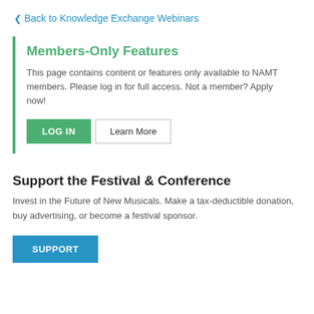Back to Knowledge Exchange Webinars
Members-Only Features
This page contains content or features only available to NAMT members. Please log in for full access. Not a member? Apply now!
LOG IN  Learn More
Support the Festival & Conference
Invest in the Future of New Musicals. Make a tax-deductible donation, buy advertising, or become a festival sponsor.
SUPPORT